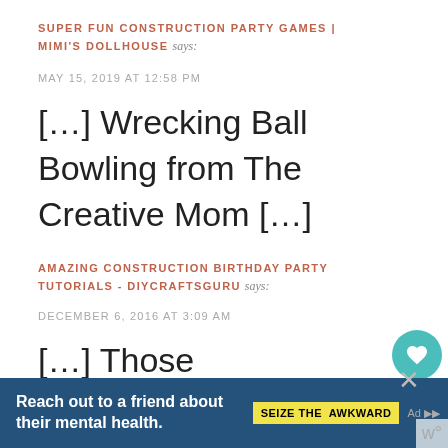SUPER FUN CONSTRUCTION PARTY GAMES | MIMI'S DOLLHOUSE says:
MAY 15, 2019 AT 12:58 PM
[…] Wrecking Ball Bowling from The Creative Mom […]
AMAZING CONSTRUCTION BIRTHDAY PARTY TUTORIALS - DIYCRAFTSGURU says:
DECEMBER 6, 2016 AT 3:09 AM
[…] Those â€œwreckingâ€ balls were the take home gift with a label that said Thanks for coming! a ball. What a creative idea. source […]
[Figure (infographic): Ad banner: 'Reach out to a friend about their mental health.' with SEIZE THE AWKWARD badge and media icons]